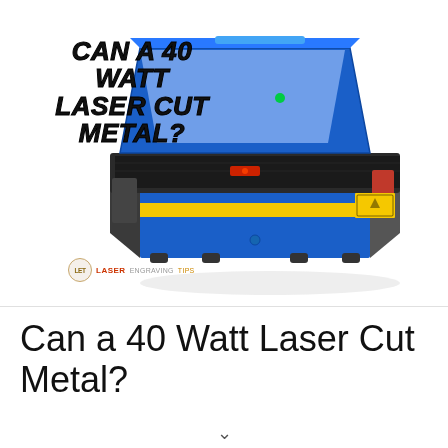[Figure (photo): Photo of a blue and gray CO2 laser engraving/cutting machine with the lid open, showing the interior work area. Overlaid text in bold black reads 'CAN A 40 WATT LASER CUT METAL?' in italic bold style. A small 'LET Laser Engraving Tips' logo appears at the bottom left of the image.]
Can a 40 Watt Laser Cut Metal?